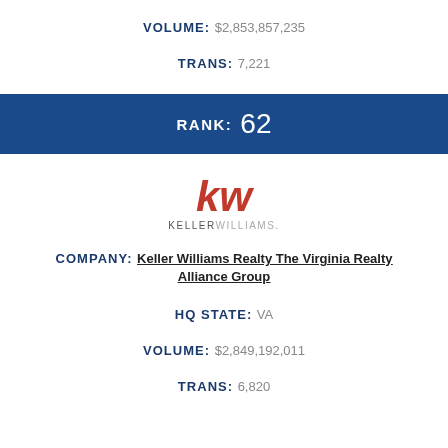VOLUME: $2,853,857,235
TRANS: 7,221
RANK: 62
[Figure (logo): Keller Williams logo with red kw letters and KELLERWILLIAMS. text below]
COMPANY: Keller Williams Realty The Virginia Realty Alliance Group
HQ STATE: VA
VOLUME: $2,849,192,011
TRANS: 6,820